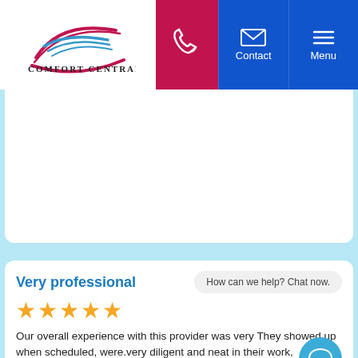[Figure (logo): Comfort Central logo with swoosh graphic in red and blue]
COMFORT CENTRAL — navigation bar with phone, Contact, and Menu icons
[Figure (screenshot): White content area (likely a map or hero image placeholder)]
Very professional
★★★★★
How can we help? Chat now.
Our overall experience with this provider was very They showed up when scheduled, were.very diligent and neat in their work, completed the project in a professional